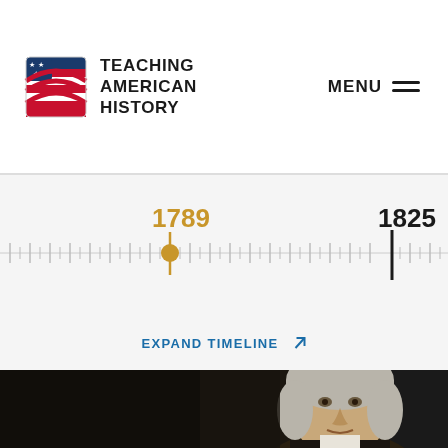[Figure (logo): Teaching American History logo with American flag graphic and bold text reading TEACHING AMERICAN HISTORY]
MENU
[Figure (infographic): Interactive timeline showing years 1789 (with golden circle marker) and 1825 (with black vertical bar), with tick marks spanning the range]
EXPAND TIMELINE
[Figure (photo): Historical portrait painting of a founding-era American figure, shown cropped from the shoulders up, with gray powdered wig and dark coat, against a dark background]